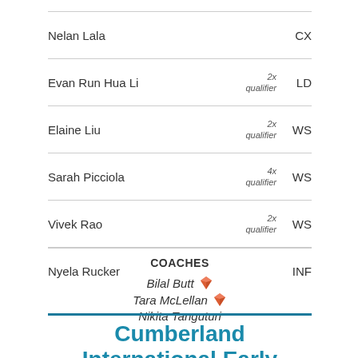| Name | Qualifier | Position |
| --- | --- | --- |
| Nelan Lala |  | CX |
| Evan Run Hua Li | 2x qualifier | LD |
| Elaine Liu | 2x qualifier | WS |
| Sarah Picciola | 4x qualifier | WS |
| Vivek Rao | 2x qualifier | WS |
| Nyela Rucker |  | INF |
COACHES
Bilal Butt [diamond]
Tara McLellan [diamond]
Nikita Tanguturi
Cumberland International Early